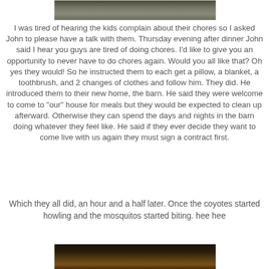[Figure (photo): Partial photo at top of page, dark grayish-brown texture, appears to be a barn or wooden structure]
I was tired of hearing the kids complain about their chores so I asked John to please have a talk with them. Thursday evening after dinner John said I hear you guys are tired of doing chores. I'd like to give you an opportunity to never have to do chores again. Would you all like that? Oh yes they would! So he instructed them to each get a pillow, a blanket, a toothbrush, and 2 changes of clothes and follow him. They did. He introduced them to their new home, the barn. He said they were welcome to come to "our" house for meals but they would be expected to clean up afterward. Otherwise they can spend the days and nights in the barn doing whatever they feel like. He said if they ever decide they want to come live with us again they must sign a contract first.
Which they all did, an hour and a half later. Once the coyotes started howling and the mosquitos started biting. hee hee
[Figure (photo): Partial photo at bottom of page, dark background with warm amber/golden tones, appears to be an animal or outdoor night scene]